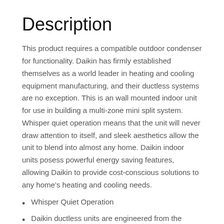Description
This product requires a compatible outdoor condenser for functionality. Daikin has firmly established themselves as a world leader in heating and cooling equipment manufacturing, and their ductless systems are no exception. This is an wall mounted indoor unit for use in building a multi-zone mini split system. Whisper quiet operation means that the unit will never draw attention to itself, and sleek aesthetics allow the unit to blend into almost any home. Daikin indoor units posess powerful energy saving features, allowing Daikin to provide cost-conscious solutions to any home’s heating and cooling needs.
Whisper Quiet Operation
Daikin ductless units are engineered from the